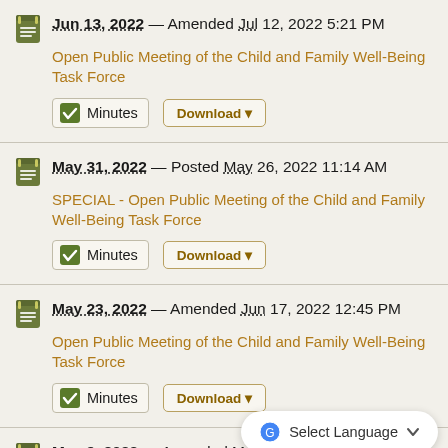Jun 13, 2022 — Amended Jul 12, 2022 5:21 PM
Open Public Meeting of the Child and Family Well-Being Task Force
Minutes  Download
May 31, 2022 — Posted May 26, 2022 11:14 AM
SPECIAL - Open Public Meeting of the Child and Family Well-Being Task Force
Minutes  Download
May 23, 2022 — Amended Jun 17, 2022 12:45 PM
Open Public Meeting of the Child and Family Well-Being Task Force
Minutes  Download
May 9, 2022 — Amended May 10, 2022 5:25 PM
CANCELED: Open Public Meeting of the Child and